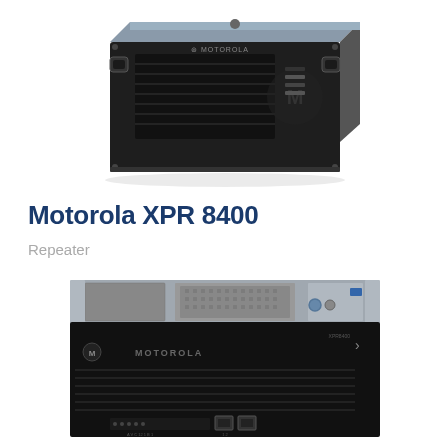[Figure (photo): Motorola XPR 8400 rack-mounted repeater unit, front and top view, black chassis with ventilation grille, Motorola logo on front panel, rack handles on both sides]
Motorola XPR 8400
Repeater
[Figure (photo): Motorola XPR 8400 repeater unit close-up front view showing MOTOROLA branding, ventilation slots, Ethernet ports, LED indicators, and connectors on the front panel]